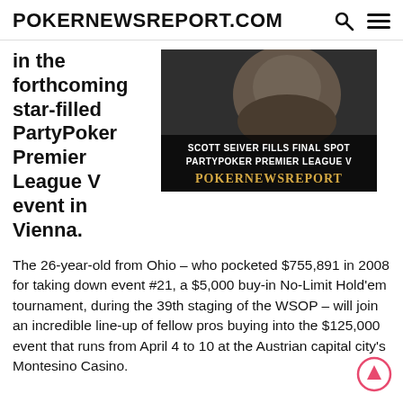POKERNEWSREPORT.COM
in the forthcoming star-filled PartyPoker Premier League V event in Vienna.
[Figure (photo): Close-up photo of Scott Seiver with overlay text: SCOTT SEIVER FILLS FINAL SPOT PARTYPOKER PREMIER LEAGUE V POKERNEWSREPORT]
The 26-year-old from Ohio – who pocketed $755,891 in 2008 for taking down event #21, a $5,000 buy-in No-Limit Hold'em tournament, during the 39th staging of the WSOP – will join an incredible line-up of fellow pros buying into the $125,000 event that runs from April 4 to 10 at the Austrian capital city's Montesino Casino.